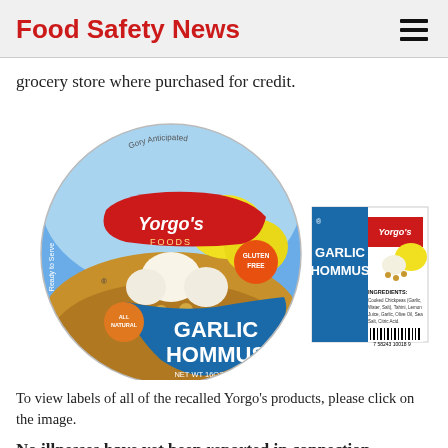Food Safety News
grocery store where purchased for credit.
[Figure (photo): Yorgo's Garlic Hommus product label — circular container lid with Yorgo's Foods branding, garlic and lemon imagery, 'GLUTEN FREE' badge, 'GARLIC HOMMUS' text, NET WT 16OZ (454g); alongside a rectangular back/side label with barcode.]
To view labels of all of the recalled Yorgo's products, please click on the image.
No illnesses have yet been reported in connection